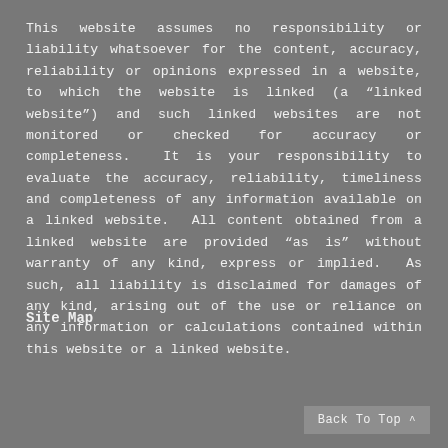This website assumes no responsibility or liability whatsoever for the content, accuracy, reliability or opinions expressed in a website, to which the website is linked (a “linked website”) and such linked websites are not monitored or checked for accuracy or completeness.  It is your responsibility to evaluate the accuracy, reliability, timeliness and completeness of any information available on a linked website.  All content obtained from a linked website are provided “as is” without warranty of any kind, express or implied.  As such, all liability is disclaimed for damages of any kind, arising out of the use or reliance on any information or calculations contained within this website or a linked website.
Site Map
Back To Top ∧